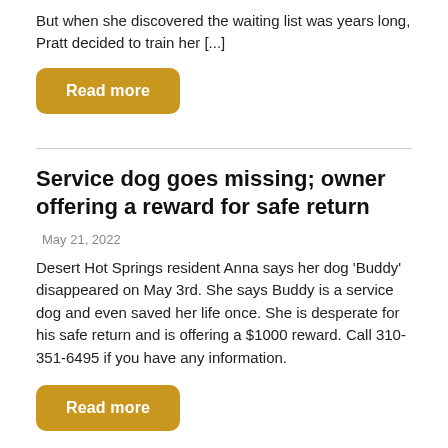But when she discovered the waiting list was years long, Pratt decided to train her [...]
Read more
Service dog goes missing; owner offering a reward for safe return
May 21, 2022
Desert Hot Springs resident Anna says her dog 'Buddy' disappeared on May 3rd. She says Buddy is a service dog and even saved her life once. She is desperate for his safe return and is offering a $1000 reward. Call 310-351-6495 if you have any information.
Read more